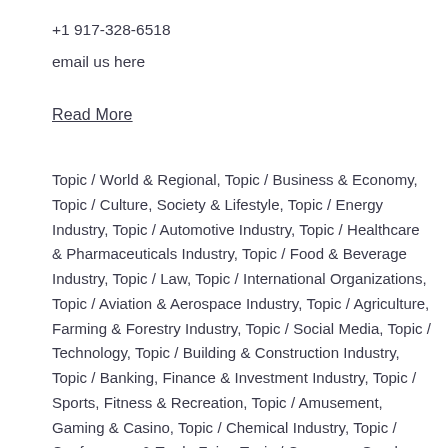+1 917-328-6518
email us here
Read More
Topic / World & Regional, Topic / Business & Economy, Topic / Culture, Society & Lifestyle, Topic / Energy Industry, Topic / Automotive Industry, Topic / Healthcare & Pharmaceuticals Industry, Topic / Food & Beverage Industry, Topic / Law, Topic / International Organizations, Topic / Aviation & Aerospace Industry, Topic / Agriculture, Farming & Forestry Industry, Topic / Social Media, Topic / Technology, Topic / Building & Construction Industry, Topic / Banking, Finance & Investment Industry, Topic / Sports, Fitness & Recreation, Topic / Amusement, Gaming & Casino, Topic / Chemical Industry, Topic / Conferences & Trade Fairs, Topic / Consumer Goods, Topic / Retail, Topic / Environment, Topic / Beauty & Hair Care, Topic / Military